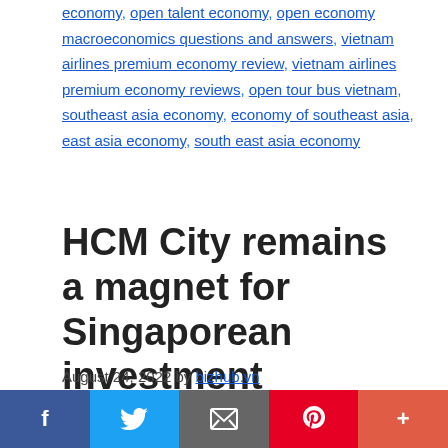economy, open talent economy, open economy macroeconomics questions and answers, vietnam airlines premium economy review, vietnam airlines premium economy reviews, open tour bus vietnam, southeast asia economy, economy of southeast asia, east asia economy, south east asia economy
HCM City remains a magnet for Singaporean investment
August 24, 2022 by bizhub.vn
Av iew of HCM City. The country's largest city is calling for investment in 197 projects in the fields
f  Twitter  Email  Pinterest  +